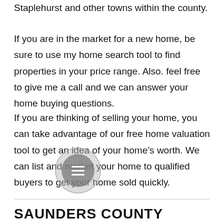Staplehurst and other towns within the county.
If you are in the market for a new home, be sure to use my home search tool to find properties in your price range. Also. feel free to give me a call and we can answer your home buying questions.
If you are thinking of selling your home, you can take advantage of our free home valuation tool to get an idea of your home’s worth. We can list and market your home to qualified buyers to get your home sold quickly.
SAUNDERS COUNTY